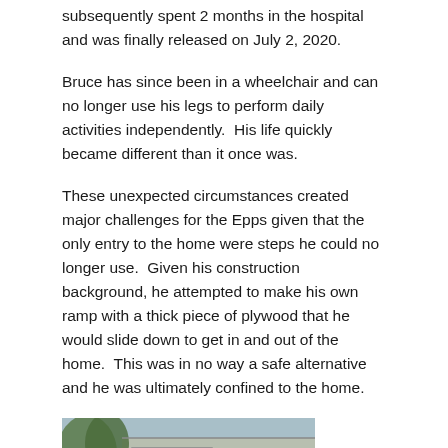subsequently spent 2 months in the hospital and was finally released on July 2, 2020.
Bruce has since been in a wheelchair and can no longer use his legs to perform daily activities independently.  His life quickly became different than it once was.
These unexpected circumstances created major challenges for the Epps given that the only entry to the home were steps he could no longer use.  Given his construction background, he attempted to make his own ramp with a thick piece of plywood that he would slide down to get in and out of the home.  This was in no way a safe alternative and he was ultimately confined to the home.
[Figure (photo): Exterior photo of a house showing the front entrance area with steps, trees in background, light-colored siding visible]